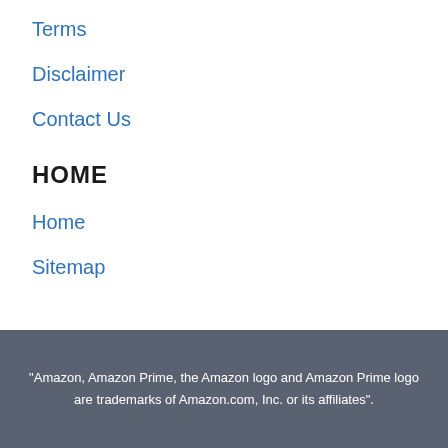Terms
Disclaimer
Contact Us
HOME
Home
Sitemap
"Amazon, Amazon Prime, the Amazon logo and Amazon Prime logo are trademarks of Amazon.com, Inc. or its affiliates".